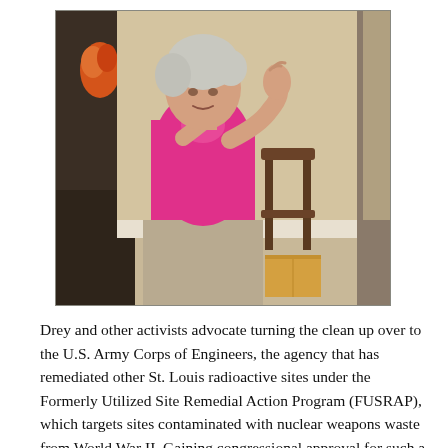[Figure (photo): An elderly woman with short grey hair, wearing a bright pink short-sleeve shirt and khaki pants, gesturing with her hands as if speaking. She is seated or standing in an indoor room setting with a wooden chair and a box visible in the background.]
Drey and other activists advocate turning the clean up over to the U.S. Army Corps of Engineers, the agency that has remediated other St. Louis radioactive sites under the Formerly Utilized Site Remedial Action Program (FUSRAP), which targets sites contaminated with nuclear weapons waste from World War II. Gaining congressional approval for such a change has not happened, however, despite efforts by the activists to spur the St. Louis congressional